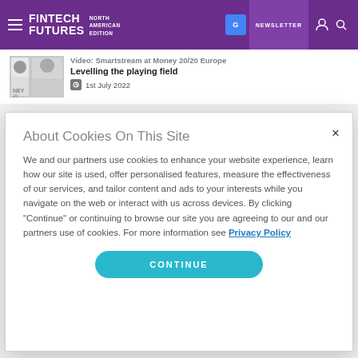FINTECH FUTURES NORTH AMERICAN EDITION — NEWSLETTER
[Figure (screenshot): Thumbnail image of two people from Money 20/20 Europe video]
Video: Smartstream at Money 20/20 Europe
Levelling the playing field
1st July 2022
Video: Railsr at Money 20/20 Europe – Old
About Cookies On This Site
We and our partners use cookies to enhance your website experience, learn how our site is used, offer personalised features, measure the effectiveness of our services, and tailor content and ads to your interests while you navigate on the web or interact with us across devices. By clicking "Continue" or continuing to browse our site you are agreeing to our and our partners use of cookies. For more information see Privacy Policy